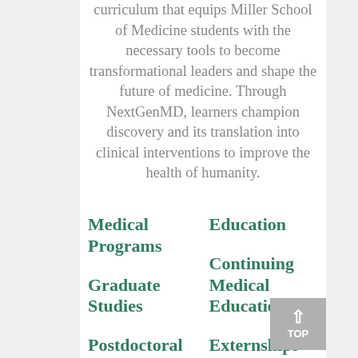curriculum that equips Miller School of Medicine students with the necessary tools to become transformational leaders and shape the future of medicine. Through NextGenMD, learners champion discovery and its translation into clinical interventions to improve the health of humanity.
Medical Programs
Graduate Studies
Postdoctoral Programs
Graduate Medical
Education
Continuing Medical Education
Externships
Observerships